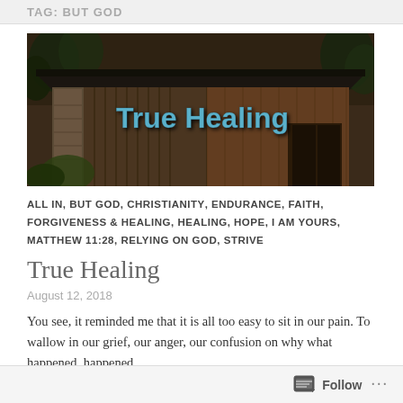TAG: BUT GOD
[Figure (photo): An old weathered wooden barn/shed with a dark metal roof, surrounded by trees. Overlaid text reads 'True Healing' in blue stylized lettering.]
ALL IN, BUT GOD, CHRISTIANITY, ENDURANCE, FAITH, FORGIVENESS & HEALING, HEALING, HOPE, I AM YOURS, MATTHEW 11:28, RELYING ON GOD, STRIVE
True Healing
August 12, 2018
You see, it reminded me that it is all too easy to sit in our pain. To wallow in our grief, our anger, our confusion on why what happened, happened.